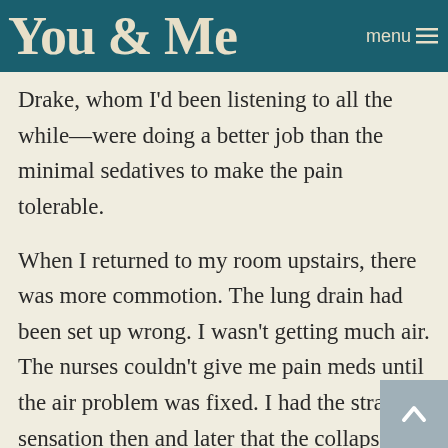You & Me  menu
Drake, whom I'd been listening to all the while—were doing a better job than the minimal sedatives to make the pain tolerable.
When I returned to my room upstairs, there was more commotion. The lung drain had been set up wrong. I wasn't getting much air. The nurses couldn't give me pain meds until the air problem was fixed. I had the strange sensation then and later that the collapsed lung was... I don't know... a kind of cathartic experience. I know that is counterintuitive.